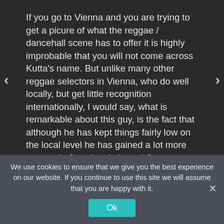If you go to Vienna and you are trying to get a picure of what the reggae / dancehall scene has to offer it is highly improbable that you will not come across Kutta's name. But unlike many other reggae selectors in Vienna, who do well locally, but get little recognition internationally, I would say, what is remarkable about this guy, is the fact that although he has kept things fairly low on the local level he has gained a lot more respect in Jamaica, Italy and Germany than is usual for any Austrian reggae act. I believe that this pretty much accounts for his subtle taste and thorough love of Jamaican music as well as his broader knowledge of all the different styles
We use cookies to ensure that we give you the best experience on our website. If you continue to use this site we will assume that you are happy with it.